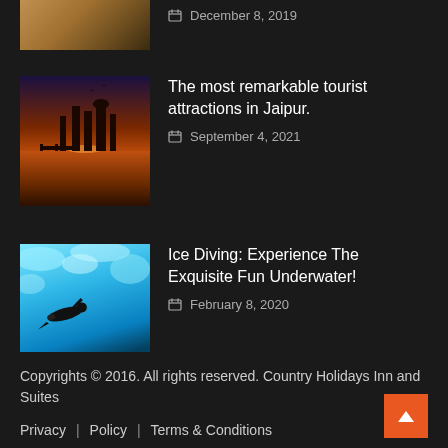[Figure (photo): Partial top thumbnail of food/meal from previous article]
[Figure (photo): Jaipur lake temple at sunset with orange sky and water reflection]
The most remarkable tourist attractions in Jaipur.
September 4, 2021
[Figure (photo): Ice diver underwater in turquoise icy water]
Ice Diving: Experience The Exquisite Fun Underwater!
February 8, 2020
Copyrights © 2016. All rights reserved. Country Holidays Inn and Suites
Privacy | Policy | Terms & Conditions